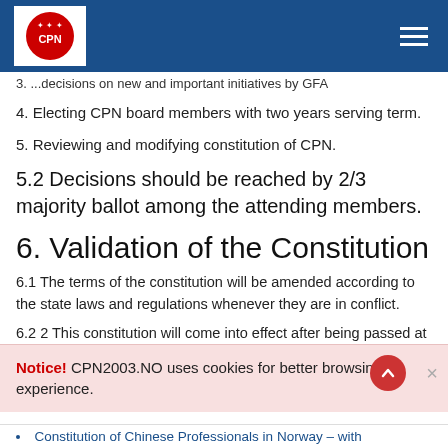CPN logo and navigation header
3. ... decisions on new and important initiatives by GFA
4. Electing CPN board members with two years serving term.
5. Reviewing and modifying constitution of CPN.
5.2 Decisions should be reached by 2/3 majority ballot among the attending members.
6. Validation of the Constitution
6.1 The terms of the constitution will be amended according to the state laws and regulations whenever they are in conflict.
6.2 2 This constitution will come into effect after being passed at
Notice! CPN2003.NO uses cookies for better browsing experience.
Constitution of Chinese Professionals in Norway – with